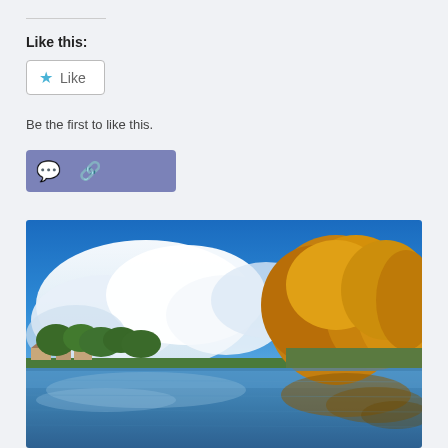Like this:
[Figure (screenshot): WordPress-style Like button with blue star icon and 'Like' text, bordered rounded rectangle]
Be the first to like this.
[Figure (screenshot): Purple/blue action bar with comment bubble icon and chain/link icon]
[Figure (photo): Autumn landscape with blue sky, large white clouds, golden-orange trees on the right reflected in a calm lake, with buildings visible in the far distance on the left shore]